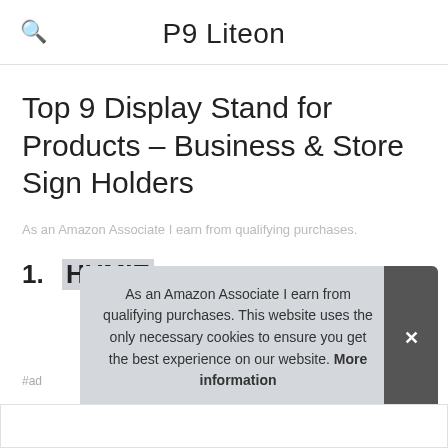P9 Liteon
Top 9 Display Stand for Products – Business & Store Sign Holders
As an Amazon Associate I earn from qualifying purchases.
1. HUMIE
As an Amazon Associate I earn from qualifying purchases. This website uses the only necessary cookies to ensure you get the best experience on our website. More information
#ad